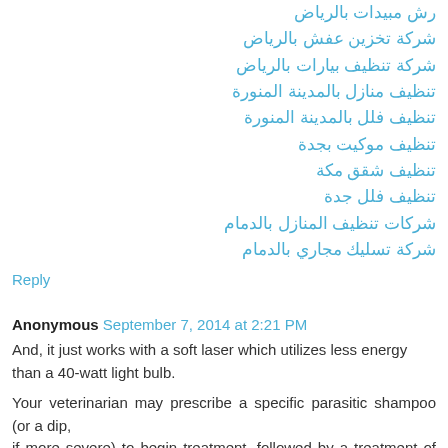رش مبيدات بالرياض
شركة تخزين عفش بالرياض
شركة تنظيف بيارات بالرياض
تنظيف منازل بالمدينة المنورة
تنظيف فلل بالمدينة المنورة
تنظيف موكيت بجدة
تنظيف شقق مكة
تنظيف فلل جدة
شركات تنظيف المنازل بالدمام
شركة تسليك مجاري بالدمام
Reply
Anonymous September 7, 2014 at 2:21 PM
And, it just works with a soft laser which utilizes less energy than a 40-watt light bulb.
Your veterinarian may prescribe a specific parasitic shampoo (or a dip, if more severe) to begin treatment, followed by a treatment of an ointment or cream, for healing the parasitic sores.